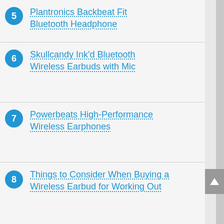5 Plantronics Backbeat Fit Bluetooth Headphone
6 Skullcandy Ink'd Bluetooth Wireless Earbuds with Mic
7 Powerbeats High-Performance Wireless Earphones
8 Things to Consider When Buying a Wireless Earbud for Working Out
9 Verdict